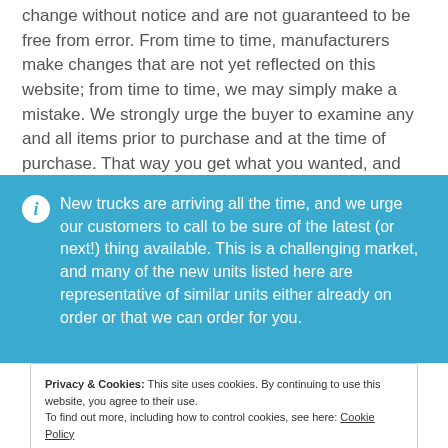change without notice and are not guaranteed to be free from error. From time to time, manufacturers make changes that are not yet reflected on this website; from time to time, we may simply make a mistake. We strongly urge the buyer to examine any and all items prior to purchase and at the time of purchase. That way you get what you wanted, and we get happier
New trucks are arriving all the time, and we urge our customers to call to be sure of the latest (or next!) thing available. This is a challenging market, and many of the new units listed here are representative of similar units either already on order or that we can order for you.
Privacy & Cookies: This site uses cookies. By continuing to use this website, you agree to their use. To find out more, including how to control cookies, see here: Cookie Policy
Close and accept